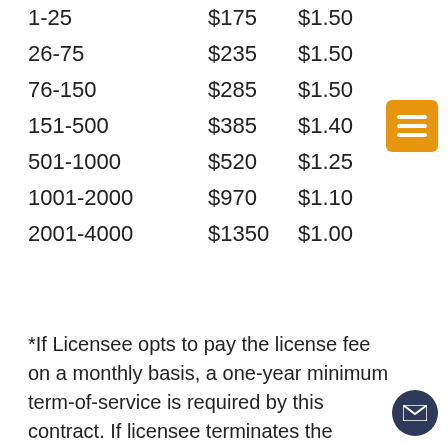| 1-25 | $175 | $1.50 |
| 26-75 | $235 | $1.50 |
| 76-150 | $285 | $1.50 |
| 151-500 | $385 | $1.40 |
| 501-1000 | $520 | $1.25 |
| 1001-2000 | $970 | $1.10 |
| 2001-4000 | $1350 | $1.00 |
*If Licensee opts to pay the license fee on a monthly basis, a one-year minimum term-of-service is required by this contract. If licensee terminates the contract after fewer than 12 months of service, the balance of payments are due to the Licensor at that time.